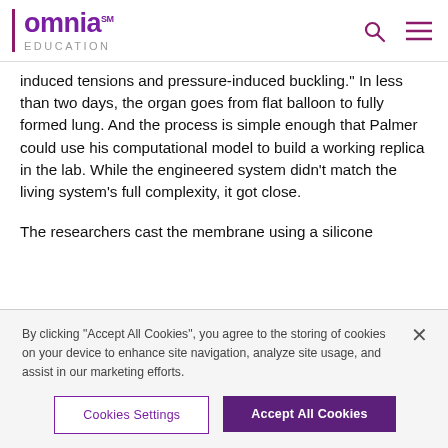omnia EDUCATION
induced tensions and pressure-induced buckling." In less than two days, the organ goes from flat balloon to fully formed lung. And the process is simple enough that Palmer could use his computational model to build a working replica in the lab. While the engineered system didn't match the living system's full complexity, it got close.
The researchers cast the membrane using a silicone
By clicking "Accept All Cookies", you agree to the storing of cookies on your device to enhance site navigation, analyze site usage, and assist in our marketing efforts.
Cookies Settings
Accept All Cookies